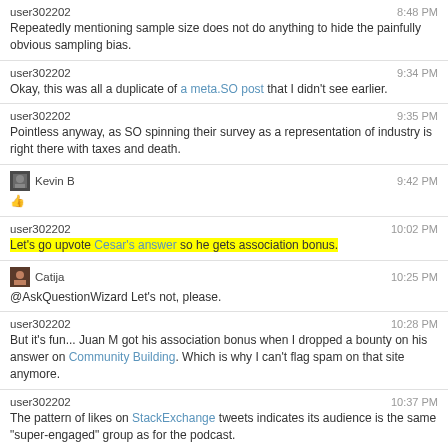user302202 8:48 PM Repeatedly mentioning sample size does not do anything to hide the painfully obvious sampling bias.
user302202 9:34 PM Okay, this was all a duplicate of a meta.SO post that I didn't see earlier.
user302202 9:35 PM Pointless anyway, as SO spinning their survey as a representation of industry is right there with taxes and death.
Kevin B 9:42 PM [emoji]
user302202 10:02 PM Let's go upvote Cesar's answer so he gets association bonus.
Catija 10:25 PM @AskQuestionWizard Let's not, please.
user302202 10:28 PM But it's fun... Juan M got his association bonus when I dropped a bounty on his answer on Community Building. Which is why I can't flag spam on that site anymore.
user302202 10:37 PM The pattern of likes on StackExchange tweets indicates its audience is the same "super-engaged" group as for the podcast.
Kevin B 10:42 PM